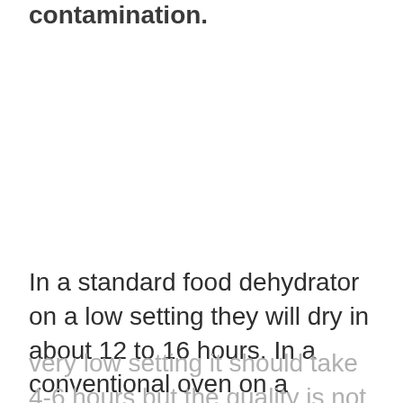contamination.
In a standard food dehydrator on a low setting they will dry in about 12 to 16 hours. In a conventional oven on a very low setting it should take 4-6 hours but the quality is not as good